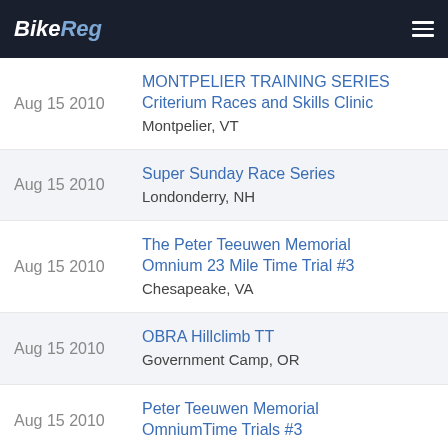BikeReg
Aug 15 2010 | MONTPELIER TRAINING SERIES Criterium Races and Skills Clinic | Montpelier, VT
Aug 15 2010 | Super Sunday Race Series | Londonderry, NH
Aug 15 2010 | The Peter Teeuwen Memorial Omnium 23 Mile Time Trial #3 | Chesapeake, VA
Aug 15 2010 | OBRA Hillclimb TT | Government Camp, OR
Aug 15 2010 | Peter Teeuwen Memorial OmniumTime Trials #3
Aug 15 2010 | Altamont Crit
Aug 15 2010 | Fall River Criterium